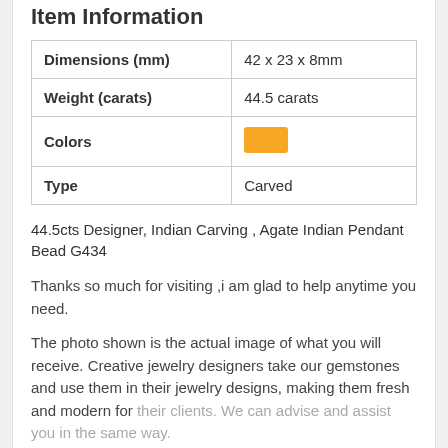Item Information
|  |  |
| --- | --- |
| Dimensions (mm) | 42 x 23 x 8mm |
| Weight (carats) | 44.5 carats |
| Colors | [orange swatch] |
| Type | Carved |
44.5cts Designer, Indian Carving , Agate Indian Pendant Bead G434
Thanks so much for visiting ,i am glad to help anytime you need.
The photo shown is the actual image of what you will receive. Creative jewelry designers take our gemstones and use them in their jewelry designs, making them fresh and modern for their clients. We can advise and assist you in the same way.